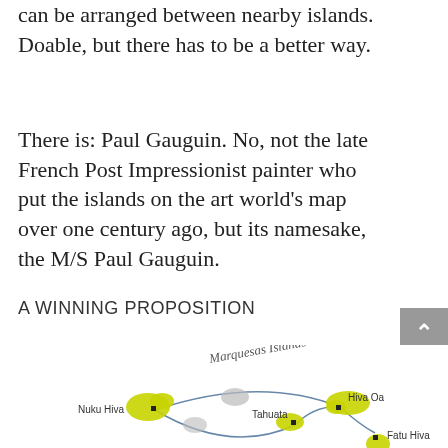can be arranged between nearby islands. Doable, but there has to be a better way.
There is: Paul Gauguin. No, not the late French Post Impressionist painter who put the islands on the art world's map over one century ago, but its namesake, the M/S Paul Gauguin.
A WINNING PROPOSITION
[Figure (map): Map of Marquesas Islands showing Nuku Hiva, Tahuata, Hiva Oa, and Fatu Hiva with route lines connecting them. Islands shown in yellow-green, with curved route lines in dark blue.]